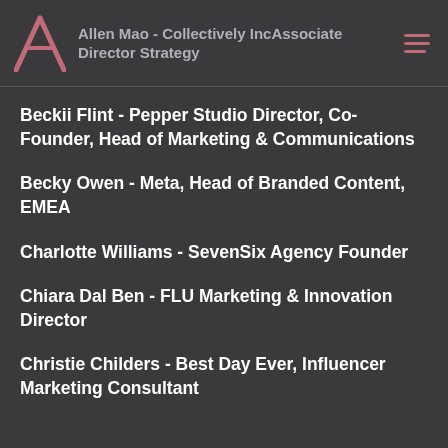Allen Mao - Collectively IncAssociate Director Strategy
Beckii Flint - Pepper Studio Director, Co-Founder, Head of Marketing & Communications
Becky Owen - Meta, Head of Branded Content, EMEA
Charlotte Williams - SevenSix Agency Founder
Chiara Dal Ben - FLU Marketing & Innovation Director
Christie Childers - Best Day Ever, Influencer Marketing Consultant